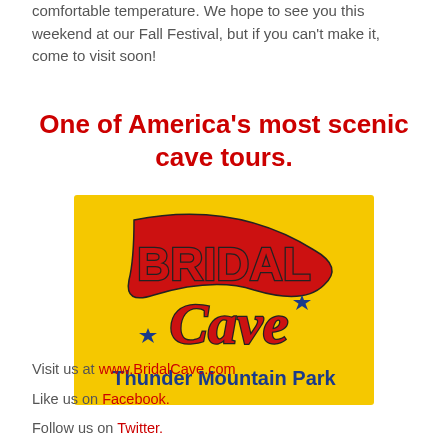comfortable temperature. We hope to see you this weekend at our Fall Festival, but if you can't make it, come to visit soon!
One of America's most scenic cave tours.
[Figure (logo): Bridal Cave Thunder Mountain Park logo on yellow background with red and blue text and star decorations]
Visit us at www.BridalCave.com
Like us on Facebook.
Follow us on Twitter.
Follow us on Google+.